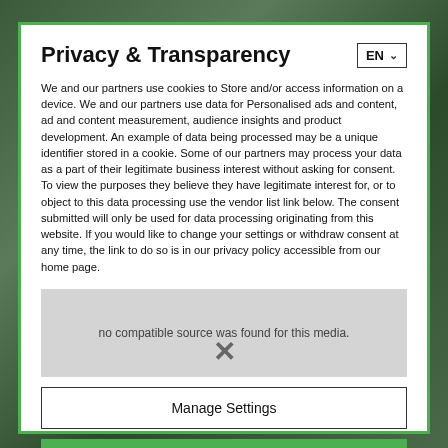Privacy & Transparency
We and our partners use cookies to Store and/or access information on a device. We and our partners use data for Personalised ads and content, ad and content measurement, audience insights and product development. An example of data being processed may be a unique identifier stored in a cookie. Some of our partners may process your data as a part of their legitimate business interest without asking for consent. To view the purposes they believe they have legitimate interest for, or to object to this data processing use the vendor list link below. The consent submitted will only be used for data processing originating from this website. If you would like to change your settings or withdraw consent at any time, the link to do so is in our privacy policy accessible from our home page.
[Figure (screenshot): Video player showing 'no compatible source was found for this media' message with an X close button overlay]
Manage Settings
Continue with Recommended Cookies
Vendor List | Privacy Policy